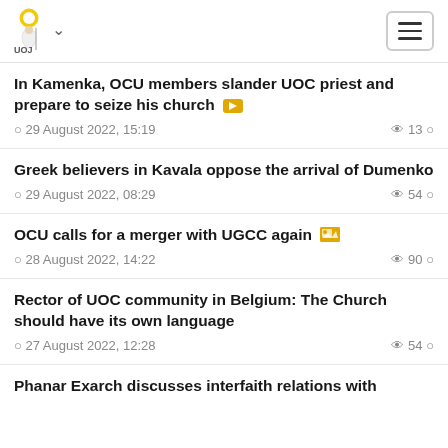UOJ logo with navigation
In Kamenka, OCU members slander UOC priest and prepare to seize his church
29 August 2022, 15:19 · 13 views
Greek believers in Kavala oppose the arrival of Dumenko
29 August 2022, 08:29 · 54 views
OCU calls for a merger with UGCC again
28 August 2022, 14:22 · 90 views
Rector of UOC community in Belgium: The Church should have its own language
27 August 2022, 12:28 · 54 views
Phanar Exarch discusses interfaith relations with